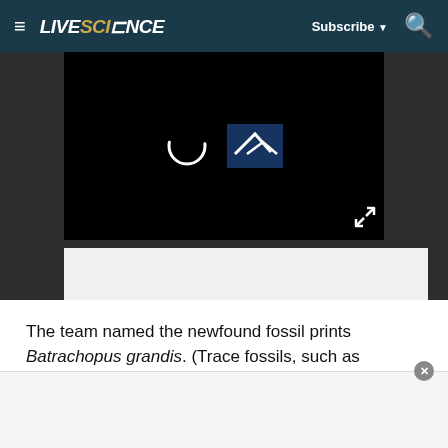LIVESCIENCE  Subscribe  Search
[Figure (screenshot): Video player in dark background showing a circular loading icon and partial logo/thumbnail. Expand icon visible at bottom right.]
The team named the newfound fossil prints Batrachopus grandis. (Trace fossils, such as fossilized trackways and burrows, are given scientific names, just as animals are.)
During the lower Cretaceous, the track site was a lake surrounded by muddy ground, "which made for